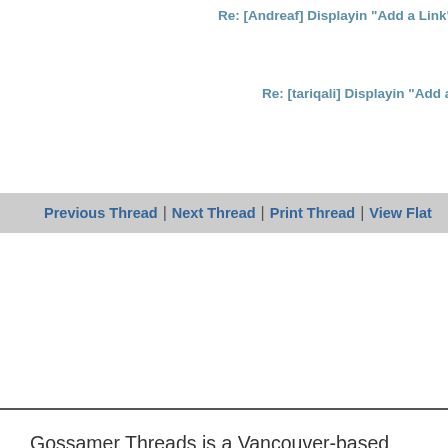Re: [Andreaf] Displayin "Add a Link" based on category
Re: [tariqali] Displayin "Add a Link" based on catego
Previous Thread | Next Thread | Print Thread | View Flat
Gossamer Threads is a Vancouver-based company with over 26 years experience in web technology. From development to hosting, we partner with leading organizations around the globe and help to build their web presences, strategies and infrastructures.
Let's talk: 1-877-715-7676